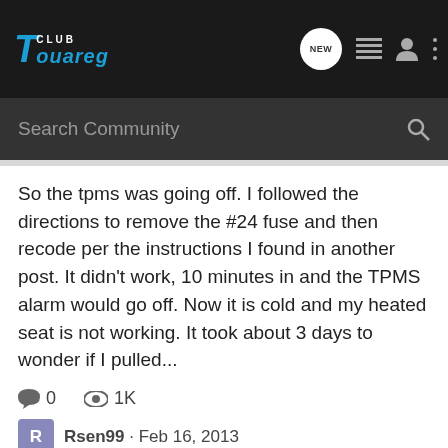Club Touareg — navigation bar with search
So the tpms was going off. I followed the directions to remove the #24 fuse and then recode per the instructions I found in another post. It didn't work, 10 minutes in and the TPMS alarm would go off. Now it is cold and my heated seat is not working. It took about 3 days to wonder if I pulled...
0  1K  Rsen99 · Feb 16, 2013  #24  fuse  tpms
2013 Touareg TPMS Retrofit Q's.
Mobile Electronics and In Car Entertainment
I live in Mexico and just got me a 2013 V8 Touareg that came